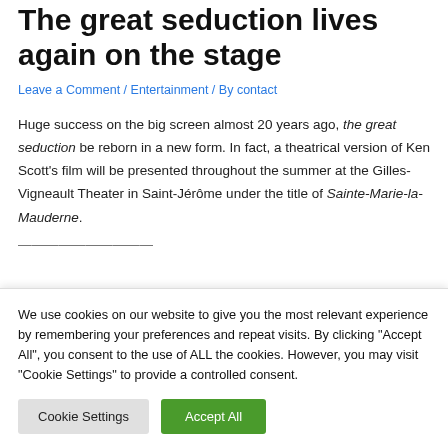The great seduction lives again on the stage
Leave a Comment / Entertainment / By contact
Huge success on the big screen almost 20 years ago, the great seduction be reborn in a new form. In fact, a theatrical version of Ken Scott's film will be presented throughout the summer at the Gilles-Vigneault Theater in Saint-Jérôme under the title of Sainte-Marie-la-Mauderne.
We use cookies on our website to give you the most relevant experience by remembering your preferences and repeat visits. By clicking "Accept All", you consent to the use of ALL the cookies. However, you may visit "Cookie Settings" to provide a controlled consent.